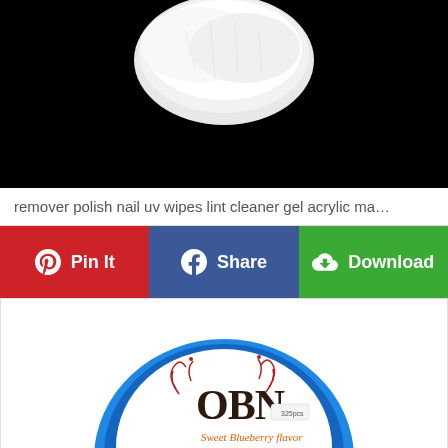[Figure (photo): Product photo of nail polish remover wipes on black background — white cotton-like pad visible at top center against black background]
remover polish nail uv wipes lint cleaner gel acrylic ma…
[Figure (infographic): Three social sharing buttons: Pin It (red, Pinterest), Share (blue, Facebook), Download (green, download icon)]
[Figure (photo): Product photo of OBN brand item with blue circular lid and label reading 'OBN Sweet Blueberry flavor' with decorative floral design and green leaves]